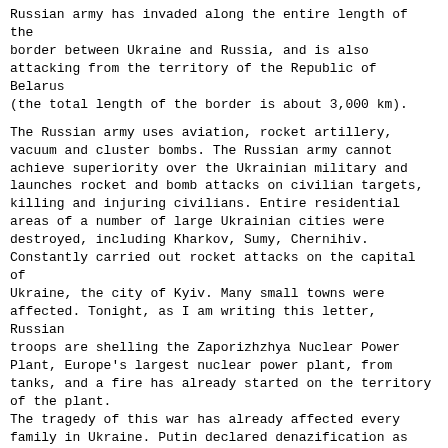Russian army has invaded along the entire length of the border between Ukraine and Russia, and is also attacking from the territory of the Republic of Belarus (the total length of the border is about 3,000 km).
The Russian army uses aviation, rocket artillery, vacuum and cluster bombs. The Russian army cannot achieve superiority over the Ukrainian military and launches rocket and bomb attacks on civilian targets, killing and injuring civilians. Entire residential areas of a number of large Ukrainian cities were destroyed, including Kharkov, Sumy, Chernihiv. Constantly carried out rocket attacks on the capital of Ukraine, the city of Kyiv. Many small towns were affected. Tonight, as I am writing this letter, Russian troops are shelling the Zaporizhzhya Nuclear Power Plant, Europe's largest nuclear power plant, from tanks, and a fire has already started on the territory of the plant.
The tragedy of this war has already affected every family in Ukraine. Putin declared denazification as one of the goals of the war, which implies the destruction of Ukrainian culture, traditions and their bearers - i.e. genocide.
Reliable information about the course of military operations and the basic needs of the defenders of Ukraine is published quite quickly on the website https://war.ukraine.ua/ and twitter https://twitter.com/StratcomCentre